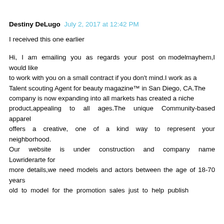Destiny DeLugo  July 2, 2017 at 12:42 PM
I received this one earlier
Hi, I am emailing you as regards your post on modelmayhem,I would like to work with you on a small contract if you don't mind.I work as a Talent scouting Agent for beauty magazine™ in San Diego, CA.The company is now expanding into all markets has created a niche product,appealing to all ages.The unique Community-based apparel offers a creative, one of a kind way to represent your neighborhood. Our website is under construction and company name Lowriderarte for more details,we need models and actors between the age of 18-70 years old to model for the promotion sales just to help publish